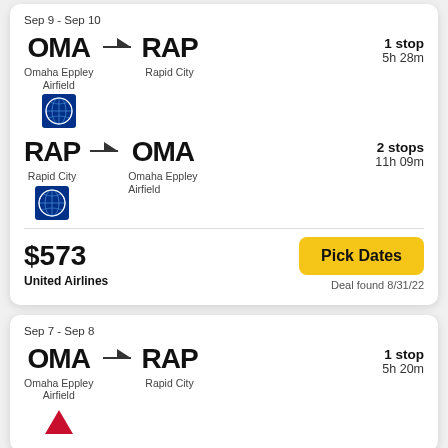Sep 9 - Sep 10
OMA → RAP, Omaha Eppley Airfield to Rapid City, 1 stop, 5h 28m
RAP → OMA, Rapid City to Omaha Eppley Airfield, 2 stops, 11h 09m
$573, United Airlines
Pick Dates
Deal found 8/31/22
Sep 7 - Sep 8
OMA → RAP, Omaha Eppley Airfield to Rapid City, 1 stop, 5h 20m